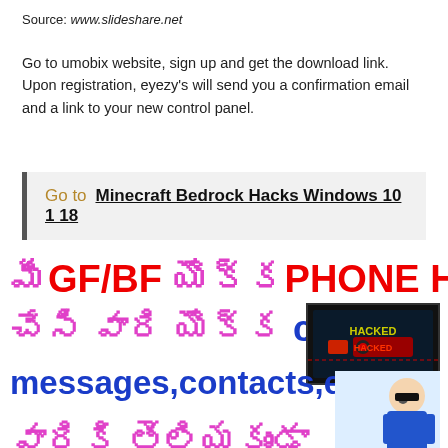Source: www.slideshare.net
Go to umobix website, sign up and get the download link. Upon registration, eyezy's will send you a confirmation email and a link to your new control panel.
Go to  Minecraft Bedrock Hacks Windows 10 1 18
[Figure (infographic): Telugu language ad banner with colorful text about phone hacking: 'మీ GF/BF యొక్క PHONE HACK చేసి వారి యొక్క calls messages,contacts,etc వారికి తెలియకుండా' with a 'HACKED' image and cartoon man illustration]